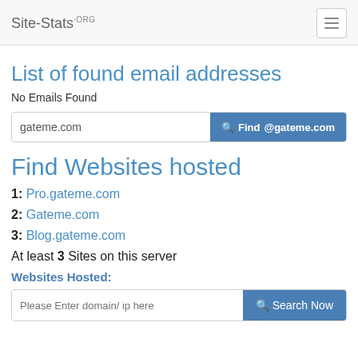Site-Stats.ORG
List of found email addresses
No Emails Found
gateme.com | Find @gateme.com
Find Websites hosted
1: Pro.gateme.com
2: Gateme.com
3: Blog.gateme.com
At least 3 Sites on this server
Websites Hosted:
Please Enter domain/ ip here | Search Now